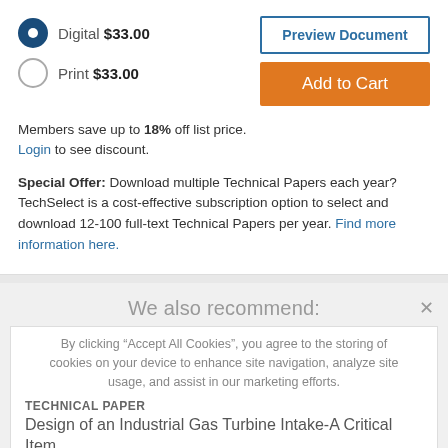Digital $33.00
Print $33.00
Preview Document
Add to Cart
Members save up to 18% off list price. Login to see discount.
Special Offer: Download multiple Technical Papers each year? TechSelect is a cost-effective subscription option to select and download 12-100 full-text Technical Papers per year. Find more information here.
We also recommend:
By clicking "Accept All Cookies", you agree to the storing of cookies on your device to enhance site navigation, analyze site usage, and assist in our marketing efforts.
TECHNICAL PAPER
Design of an Industrial Gas Turbine Intake-A Critical Item
770968
View Details
Cookies Settings
Accept Cookies